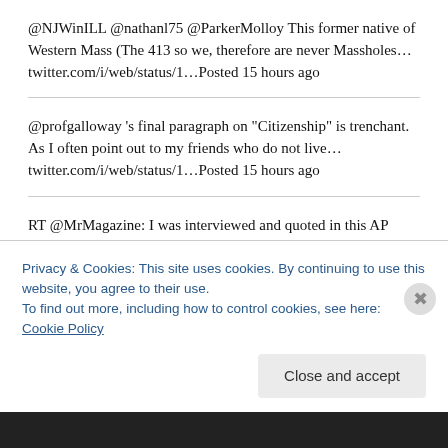@NJWinILL @nathanl75 @ParkerMolloy This former native of Western Mass (The 413 so we, therefore are never Massholes… twitter.com/i/web/status/1…Posted 15 hours ago
@profgalloway 's final paragraph on "Citizenship" is trenchant. As I often point out to my friends who do not live… twitter.com/i/web/status/1…Posted 15 hours ago
RT @MrMagazine: I was interviewed and quoted in this AP story about Creem magazine. startribune.com/rock-mag-creem… @BoSacks @PrintPros @newsstandp… Posted 17 hours ago
Privacy & Cookies: This site uses cookies. By continuing to use this website, you agree to their use.
To find out more, including how to control cookies, see here: Cookie Policy
Close and accept